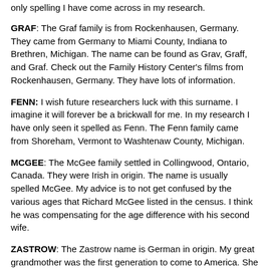only spelling I have come across in my research.
GRAF: The Graf family is from Rockenhausen, Germany. They came from Germany to Miami County, Indiana to Brethren, Michigan. The name can be found as Grav, Graff, and Graf. Check out the Family History Center's films from Rockenhausen, Germany. They have lots of information.
FENN: I wish future researchers luck with this surname. I imagine it will forever be a brickwall for me. In my research I have only seen it spelled as Fenn. The Fenn family came from Shoreham, Vermont to Washtenaw County, Michigan.
MCGEE: The McGee family settled in Collingwood, Ontario, Canada. They were Irish in origin. The name is usually spelled McGee. My advice is to not get confused by the various ages that Richard McGee listed in the census. I think he was compensating for the age difference with his second wife.
ZASTROW: The Zastrow name is German in origin. My great grandmother was the first generation to come to America. She settled in Manistee County, Michigan. The